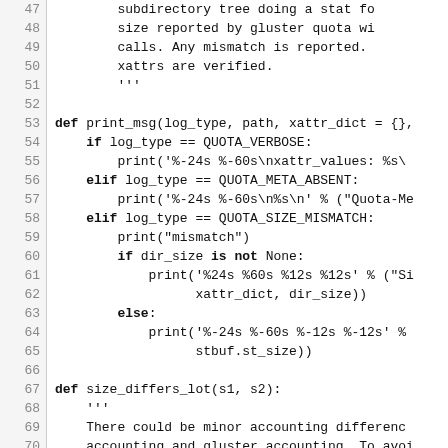[Figure (screenshot): Source code listing in Python, showing functions print_msg and size_differs_lot with line numbers 47-76 on a white background with monospace font.]